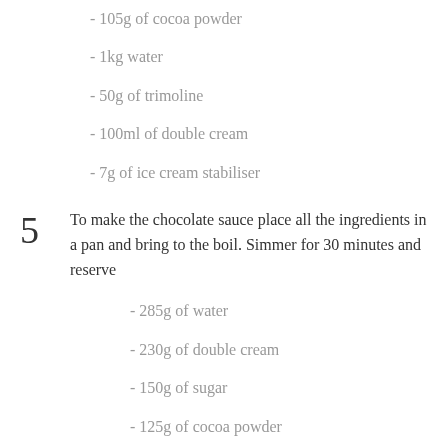- 105g of cocoa powder
- 1kg water
- 50g of trimoline
- 100ml of double cream
- 7g of ice cream stabiliser
5	To make the chocolate sauce place all the ingredients in a pan and bring to the boil. Simmer for 30 minutes and reserve
- 285g of water
- 230g of double cream
- 150g of sugar
- 125g of cocoa powder
6	For the decorative chocolate disc, temper the chocolate and spread onto acetate sheets. Just before the chocolate